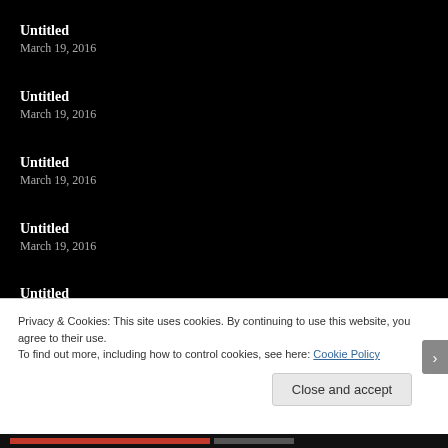Untitled
March 19, 2016
Untitled
March 19, 2016
Untitled
March 19, 2016
Untitled
March 19, 2016
Untitled
March 19, 2016
Privacy & Cookies: This site uses cookies. By continuing to use this website, you agree to their use.
To find out more, including how to control cookies, see here: Cookie Policy
Close and accept